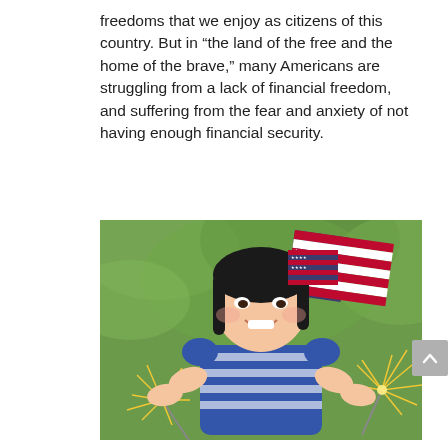freedoms that we enjoy as citizens of this country. But in “the land of the free and the home of the brave,” many Americans are struggling from a lack of financial freedom, and suffering from the fear and anxiety of not having enough financial security.
[Figure (photo): A smiling young Asian girl holding sparklers in both hands, wearing a blue and white striped shirt, with an American flag bow in her hair. Green blurred foliage in the background.]